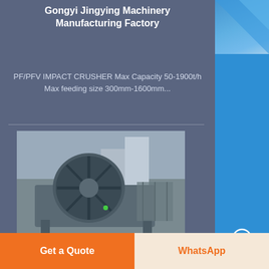Gongyi Jingying Machinery Manufacturing Factory
PF/PFV IMPACT CRUSHER Max Capacity 50-1900t/h Max feeding size 300mm-1600mm...
[Figure (photo): Industrial machinery - mobile iron ore washing plant equipment, large cylindrical drum machine on a metal frame, photographed outdoors]
New mobile iron ore washing plant in India
Jul 08 2010 0183 32 A new mobile iron ore washing plant for Bhushan Power Steel is delivering a substantial increase in Fe through the effective removal of alumina and silica from the feed material Introduction of the M2500 Fig 1 washing plant from CDE...